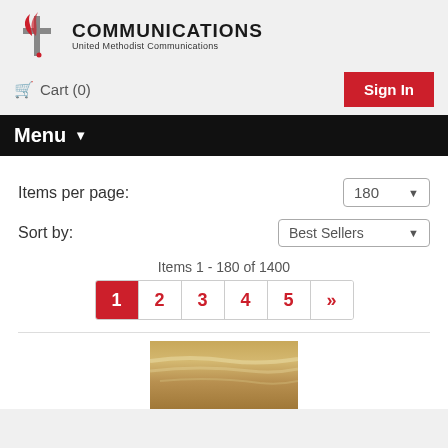[Figure (logo): United Methodist Communications logo with red flame and cross icon, COMMUNICATIONS text in bold, United Methodist Communications subtitle]
Cart (0)
Sign In
Menu ▼
Items per page:
180 ▼
Sort by:
Best Sellers ▼
Items 1 - 180 of 1400
1 2 3 4 5 »
[Figure (photo): Partial product image showing sky with clouds at golden hour]